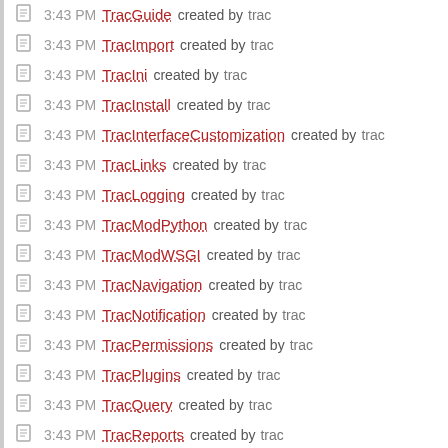3:43 PM TracGuide created by trac
3:43 PM TracImport created by trac
3:43 PM TracIni created by trac
3:43 PM TracInstall created by trac
3:43 PM TracInterfaceCustomization created by trac
3:43 PM TracLinks created by trac
3:43 PM TracLogging created by trac
3:43 PM TracModPython created by trac
3:43 PM TracModWSGI created by trac
3:43 PM TracNavigation created by trac
3:43 PM TracNotification created by trac
3:43 PM TracPermissions created by trac
3:43 PM TracPlugins created by trac
3:43 PM TracQuery created by trac
3:43 PM TracReports created by trac
3:43 PM TracRevisionLog created by trac
3:43 PM TracRoadmap created by trac